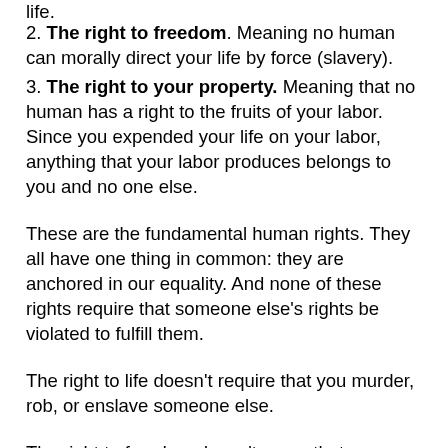life.
2. The right to freedom. Meaning no human can morally direct your life by force (slavery).
3. The right to your property. Meaning that no human has a right to the fruits of your labor. Since you expended your life on your labor, anything that your labor produces belongs to you and no one else.
These are the fundamental human rights. They all have one thing in common: they are anchored in our equality. And none of these rights require that someone else’s rights be violated to fulfill them.
The right to life doesn’t require that you murder, rob, or enslave someone else.
The right to freedom doesn’t mean that you must murder, rob, or enslave someone else.
And the right to property doesn’t mandate that you must murder